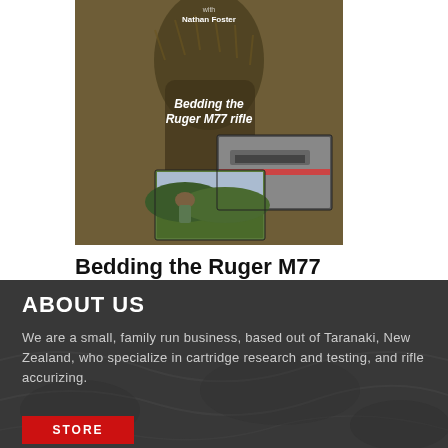[Figure (photo): Book cover for 'Bedding the Ruger M77 rifle' by Nathan Foster, showing a person in camouflage ghillie suit and inset photos of rifle bedding process and a hunter in the field]
Bedding the Ruger M77 Mk II rifle
$20.00
ABOUT US
We are a small, family run business, based out of Taranaki, New Zealand, who specialize in cartridge research and testing, and rifle accurizing.
STORE